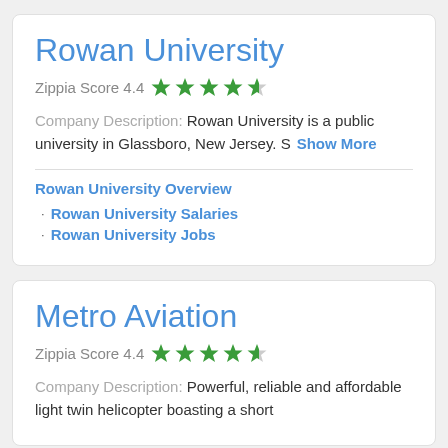Rowan University
Zippia Score 4.4 ★★★★½
Company Description: Rowan University is a public university in Glassboro, New Jersey. S  Show More
Rowan University Overview
Rowan University Salaries
Rowan University Jobs
Metro Aviation
Zippia Score 4.4 ★★★★½
Company Description: Powerful, reliable and affordable light twin helicopter boasting a short